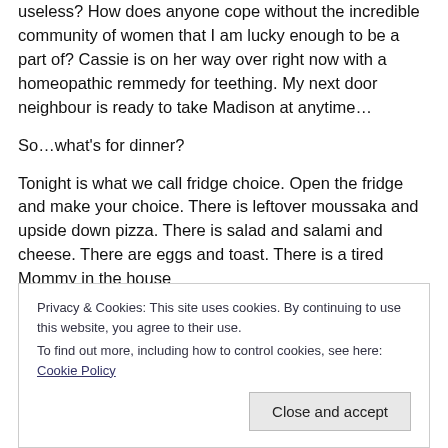useless? How does anyone cope without the incredible community of women that I am lucky enough to be a part of? Cassie is on her way over right now with a homeopathic remmedy for teething. My next door neighbour is ready to take Madison at anytime…
So…what's for dinner?
Tonight is what we call fridge choice. Open the fridge and make your choice. There is leftover moussaka and upside down pizza. There is salad and salami and cheese. There are eggs and toast. There is a tired Mommy in the house
Privacy & Cookies: This site uses cookies. By continuing to use this website, you agree to their use.
To find out more, including how to control cookies, see here: Cookie Policy